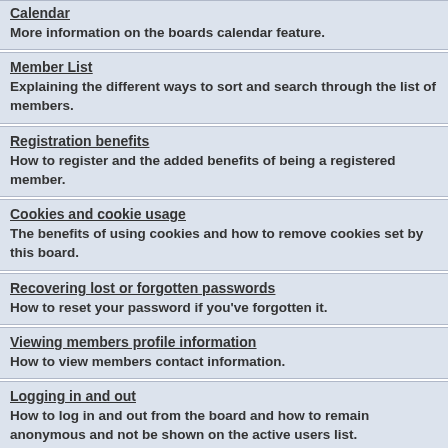Calendar
More information on the boards calendar feature.
Member List
Explaining the different ways to sort and search through the list of members.
Registration benefits
How to register and the added benefits of being a registered member.
Cookies and cookie usage
The benefits of using cookies and how to remove cookies set by this board.
Recovering lost or forgotten passwords
How to reset your password if you've forgotten it.
Viewing members profile information
How to view members contact information.
Logging in and out
How to log in and out from the board and how to remain anonymous and not be shown on the active users list.
Posting
A guide to the features available when posting on the boards.
Topic Options
A guide to the options avaliable when viewing a topic.
Contacting the moderating team & reporting posts
Where to find a list of the board moderators and administrators.
Community Blog
More information about the Community Blog module.